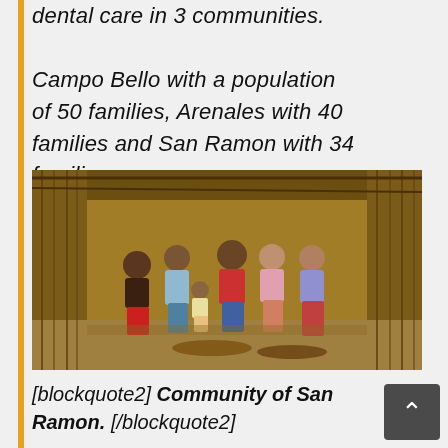dental care in 3 communities. Campo Bello with a population of 50 families, Arenales with 40 families and San Ramon with 34 families.
[Figure (photo): Group of people standing inside a rustic wooden structure with stick walls and dirt floor. Several adults and a child are posed together.]
[blockquote2] Community of San Ramon. [/blockquote2]